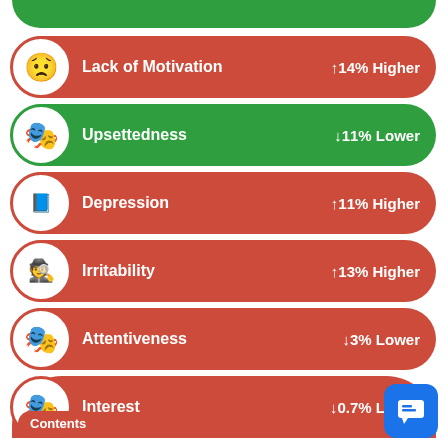[Figure (infographic): Health metric card (partial, green): top portion visible at top of page]
Lack of Motivation ↑14% Higher
Upsettedness ↓11% Lower
Depression ↑11% Higher
Irritability ↑13% Higher
Attentiveness ↓3% Lower
Interest ↓0.7% Lower